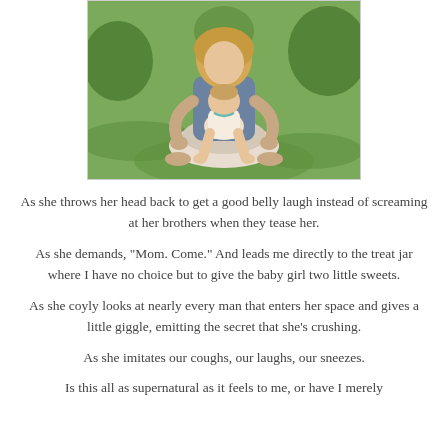[Figure (photo): A woman sitting cross-legged on grass holding a baby/toddler on her lap, outdoors on green grass with plants in the background. Both are barefoot.]
As she throws her head back to get a good belly laugh instead of screaming at her brothers when they tease her.
As she demands, "Mom. Come." And leads me directly to the treat jar where I have no choice but to give the baby girl two little sweets.
As she coyly looks at nearly every man that enters her space and gives a little giggle, emitting the secret that she's crushing.
As she imitates our coughs, our laughs, our sneezes.
Is this all as supernatural as it feels to me, or have I merely